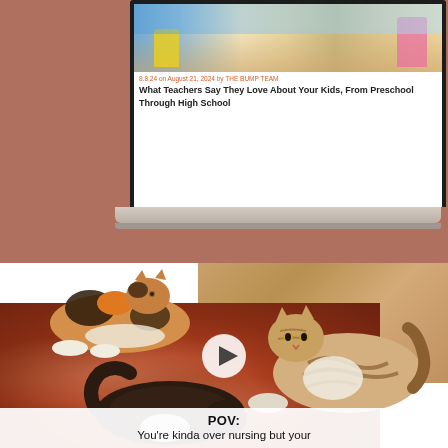[Figure (screenshot): Screenshot of a laptop showing a webpage with children in a classroom photo and an article titled 'What Teachers Say They Love About Your Kids, From Preschool Through High School', displayed against a brown/terracotta background]
[Figure (photo): Photo of cats on a rug on hardwood floor - a calico kitten, a tabby cat, and a dark cat nursing/interacting, with a white play button overlay indicating a video]
POV:
You're kinda over nursing but your